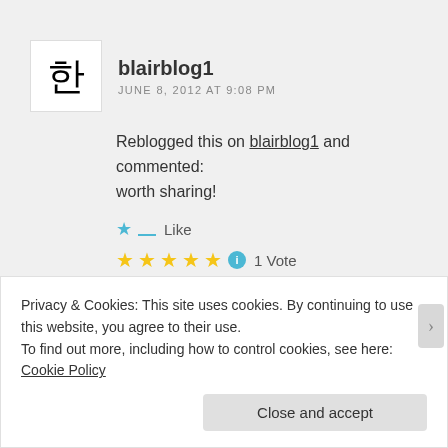blairblog1
JUNE 8, 2012 AT 9:08 PM
Reblogged this on blairblog1 and commented:
worth sharing!
Like
1 Vote
Reply
Privacy & Cookies: This site uses cookies. By continuing to use this website, you agree to their use.
To find out more, including how to control cookies, see here: Cookie Policy
Close and accept